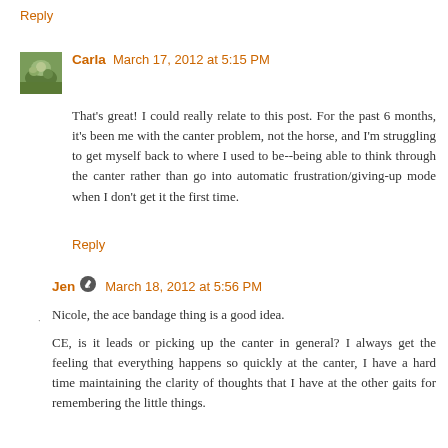Reply
Carla March 17, 2012 at 5:15 PM
That's great! I could really relate to this post. For the past 6 months, it's been me with the canter problem, not the horse, and I'm struggling to get myself back to where I used to be--being able to think through the canter rather than go into automatic frustration/giving-up mode when I don't get it the first time.
Reply
Jen March 18, 2012 at 5:56 PM
Nicole, the ace bandage thing is a good idea.
CE, is it leads or picking up the canter in general? I always get the feeling that everything happens so quickly at the canter, I have a hard time maintaining the clarity of thoughts that I have at the other gaits for remembering the little things.